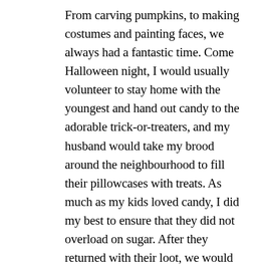From carving pumpkins, to making costumes and painting faces, we always had a fantastic time. Come Halloween night, I would usually volunteer to stay home with the youngest and hand out candy to the adorable trick-or-treaters, and my husband would take my brood around the neighbourhood to fill their pillowcases with treats. As much as my kids loved candy, I did my best to ensure that they did not overload on sugar. After they returned with their loot, we would sort through the piles to make sure everything was safe to eat. I would usually allow my kids to indulge on that first night, and their consumption was much more controlled in the days to follow.